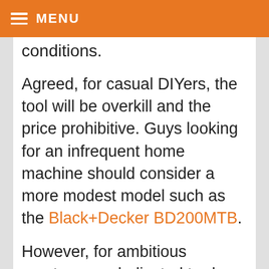MENU
conditions.
Agreed, for casual DIYers, the tool will be overkill and the price prohibitive. Guys looking for an infrequent home machine should consider a more modest model such as the Black+Decker BD200MTB.
However, for ambitious amateurs or dedicated trade professionals who demand the ultimate in durability...